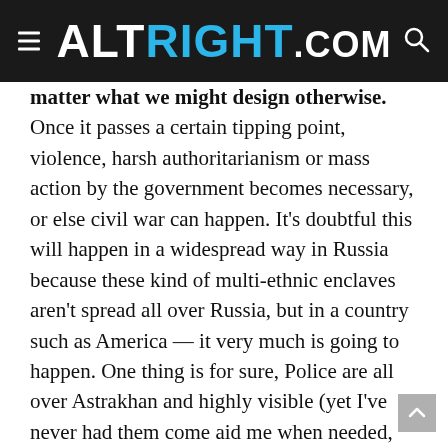ALTRIGHT.COM
matter what we might design otherwise. Once it passes a certain tipping point, violence, harsh authoritarianism or mass action by the government becomes necessary, or else civil war can happen. It's doubtful this will happen in a widespread way in Russia because these kind of multi-ethnic enclaves aren't spread all over Russia, but in a country such as America — it very much is going to happen. One thing is for sure, Police are all over Astrakhan and highly visible (yet I've never had them come aid me when needed, naturally), but in Volgograd, police were far less common.